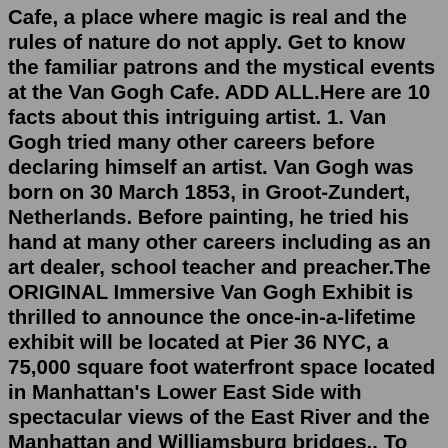Cafe, a place where magic is real and the rules of nature do not apply. Get to know the familiar patrons and the mystical events at the Van Gogh Cafe. ADD ALL.Here are 10 facts about this intriguing artist. 1. Van Gogh tried many other careers before declaring himself an artist. Van Gogh was born on 30 March 1853, in Groot-Zundert, Netherlands. Before painting, he tried his hand at many other careers including as an art dealer, school teacher and preacher.The ORIGINAL Immersive Van Gogh Exhibit is thrilled to announce the once-in-a-lifetime exhibit will be located at Pier 36 NYC, a 75,000 square foot waterfront space located in Manhattan's Lower East Side with spectacular views of the East River and the Manhattan and Williamsburg bridges.. To help reimagine this massive venue, Immersive Van Gogh has joined forces with Emmy Award-winning and ...Scan your ticket at the door. You can scan your paper or mobile ticket at the entrance. Employees of the Van Gogh Museum are present for assistance. You can enter the museum up to 30 minutes after your